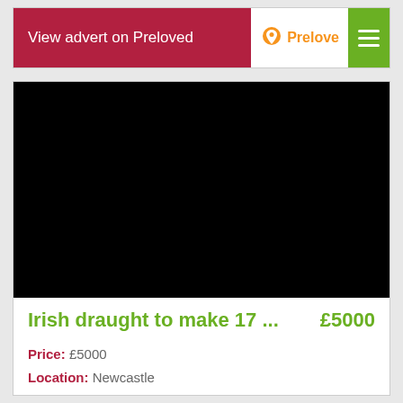View advert on Preloved
[Figure (photo): Black rectangle representing a photo of an Irish draught horse listing]
Irish draught to make 17 ...   £5000
Price: £5000
Location: Newcastle